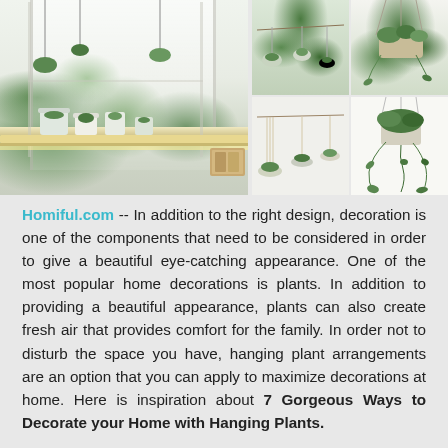[Figure (photo): Collage of four photos showing various hanging plant arrangements in home decor settings: a windowsill display of potted plants with LED lighting, plants hanging from a wooden branch, hanging basket plants, and a trailing vine plant in a hanging planter.]
Homiful.com -- In addition to the right design, decoration is one of the components that need to be considered in order to give a beautiful eye-catching appearance. One of the most popular home decorations is plants. In addition to providing a beautiful appearance, plants can also create fresh air that provides comfort for the family. In order not to disturb the space you have, hanging plant arrangements are an option that you can apply to maximize decorations at home. Here is inspiration about 7 Gorgeous Ways to Decorate your Home with Hanging Plants.